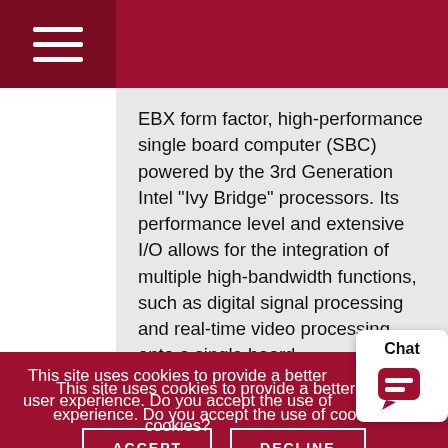EBX form factor, high-performance single board computer (SBC) powered by the 3rd Generation Intel "Ivy Bridge" processors. Its performance level and extensive I/O allows for the integration of multiple high-bandwidth functions, such as digital signal processing and real-time video processing, onto a single board.
This site uses cookies to provide a better user experience. Do you accept the use of cookies?
ACCEPT
DECLINE
Chat